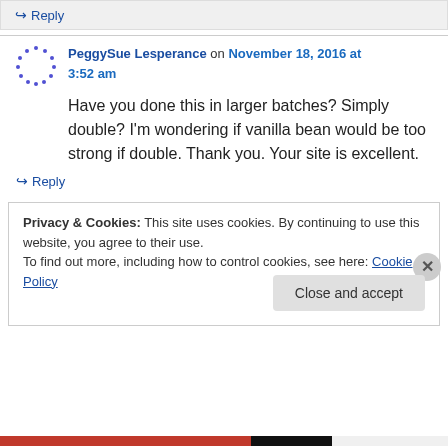↪ Reply
PeggySue Lesperance on November 18, 2016 at 3:52 am
Have you done this in larger batches? Simply double? I'm wondering if vanilla bean would be too strong if double. Thank you. Your site is excellent.
↪ Reply
Privacy & Cookies: This site uses cookies. By continuing to use this website, you agree to their use. To find out more, including how to control cookies, see here: Cookie Policy